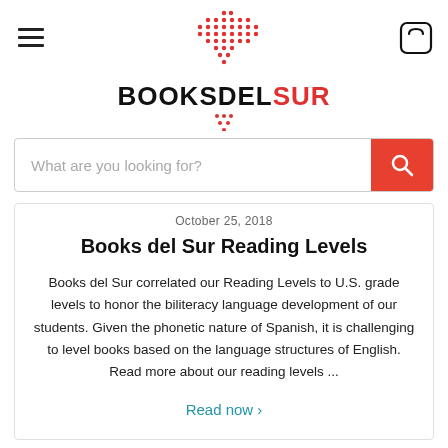[Figure (logo): Books del Sur logo with red dot pattern above and text BOOKSDELSUR, BOOKS and DEL in black, SUR in red]
What are you looking for?
October 25, 2018
Books del Sur Reading Levels
Books del Sur correlated our Reading Levels to U.S. grade levels to honor the biliteracy language development of our students. Given the phonetic nature of Spanish, it is challenging to level books based on the language structures of English. Read more about our reading levels ...
Read now ›